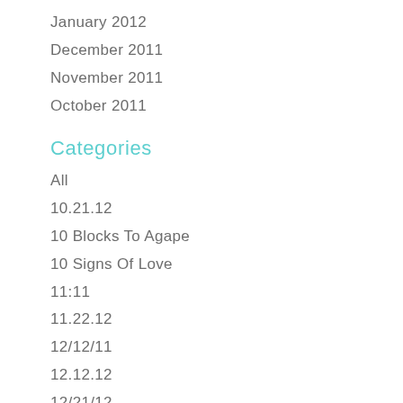January 2012
December 2011
November 2011
October 2011
Categories
All
10.21.12
10 Blocks To Agape
10 Signs Of Love
11:11
11.22.12
12/12/11
12.12.12
12/21/12